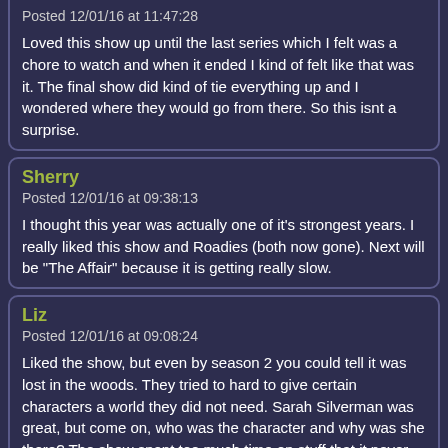Posted 12/01/16 at 11:47:28

Loved this show up until the last series which I felt was a chore to watch and when it ended I kind of felt like that was it. The final show did kind of tie everything up and I wondered where they would go from there. So this isnt a surprise.
Sherry
Posted 12/01/16 at 09:38:13

I thought this year was actually one of it's strongest years. I really liked this show and Roadies (both now gone). Next will be "The Affair" because it is getting really slow.
Liz
Posted 12/01/16 at 09:08:24

Liked the show, but even by season 2 you could tell it was lost in the woods. They tried to hard to give certain characters a world they did not need. Sarah Silverman was great, but come on, who was the character and why was she there? The show spent too much time on stuff that it never took the time to make useful. The ending is probably the best thing for the show. You don't want to become a shell of an idea.